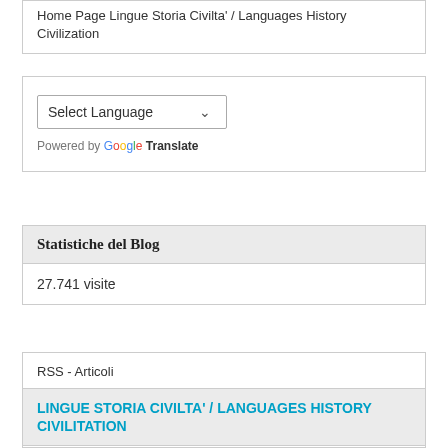Home Page Lingue Storia Civilta' / Languages History Civilization
Select Language
Powered by Google Translate
Statistiche del Blog
27.741 visite
RSS - Articoli
RSS - Commenti
LINGUE STORIA CIVILTA' / LANGUAGES HISTORY CIVILITATION